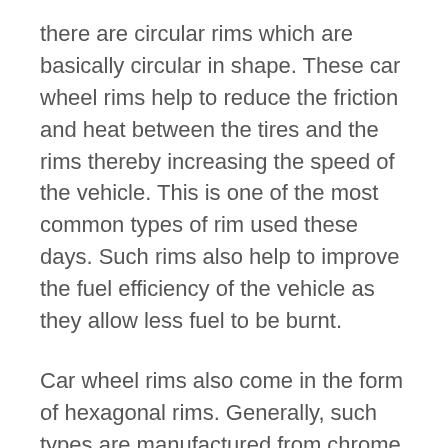there are circular rims which are basically circular in shape. These car wheel rims help to reduce the friction and heat between the tires and the rims thereby increasing the speed of the vehicle. This is one of the most common types of rim used these days. Such rims also help to improve the fuel efficiency of the vehicle as they allow less fuel to be burnt.
Car wheel rims also come in the form of hexagonal rims. Generally, such types are manufactured from chrome or steel which are painted with non-toxic paints. One of the main advantages of such types of rims is that they do not get distorted or damaged easily. They also help to protect the interiors of the car parts from damage by external forces.
There are two basic styles of wheel rims available in